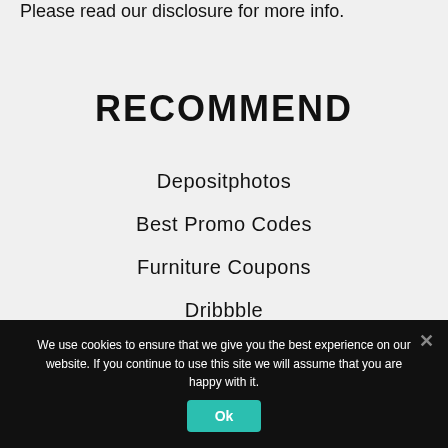Please read our disclosure for more info.
RECOMMEND
Depositphotos
Best Promo Codes
Furniture Coupons
Dribbble
We use cookies to ensure that we give you the best experience on our website. If you continue to use this site we will assume that you are happy with it.
Ok